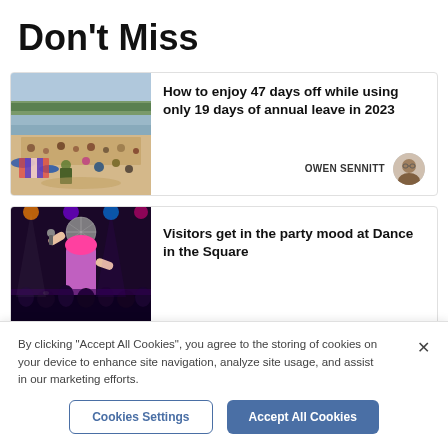Don't Miss
[Figure (photo): Beach scene with many people sitting on sand under a sunny sky, with colorful parasols and beach equipment visible.]
How to enjoy 47 days off while using only 19 days of annual leave in 2023
OWEN SENNITT
[Figure (photo): Concert scene with a performer in a pink wig raising their arm on stage with lighting effects and audience visible.]
Visitors get in the party mood at Dance in the Square
By clicking "Accept All Cookies", you agree to the storing of cookies on your device to enhance site navigation, analyze site usage, and assist in our marketing efforts.
Cookies Settings
Accept All Cookies